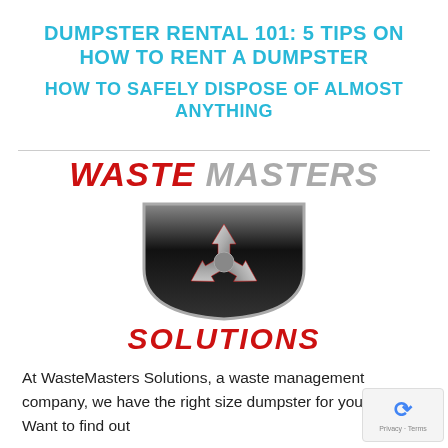DUMPSTER RENTAL 101: 5 TIPS ON HOW TO RENT A DUMPSTER
HOW TO SAFELY DISPOSE OF ALMOST ANYTHING
[Figure (logo): Waste Masters Solutions logo: red bold italic WASTE, gray bold italic MASTERS, a dark shield with chrome recycling arrows symbol, and red bold italic SOLUTIONS below]
At WasteMasters Solutions, a waste management company, we have the right size dumpster for your needs. Want to find out